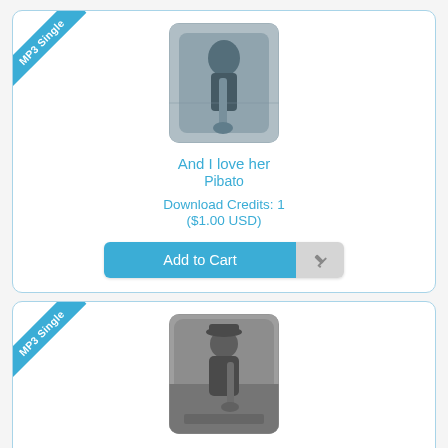[Figure (illustration): Product card for MP3 Single: 'And I love her' by Pibato with album art showing a saxophone player]
And I love her
Pibato
Download Credits: 1
($1.00 USD)
[Figure (illustration): Product card for MP3 Single: 'As Time Goes By' by Pibato with album art showing a saxophone player outdoors]
As Time Goes By
Pibato
Download Credits: 1